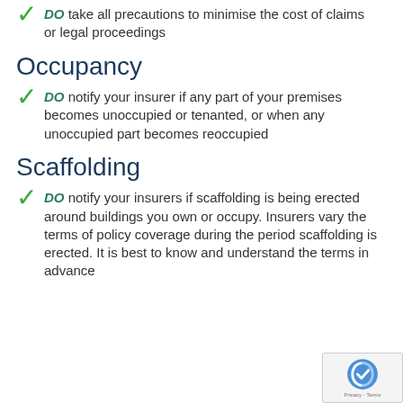DO take all precautions to minimise the cost of claims or legal proceedings
Occupancy
DO notify your insurer if any part of your premises becomes unoccupied or tenanted, or when any unoccupied part becomes reoccupied
Scaffolding
DO notify your insurers if scaffolding is being erected around buildings you own or occupy. Insurers vary the terms of policy coverage during the period scaffolding is erected. It is best to know and understand the terms in advance